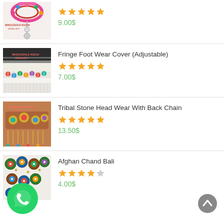[Figure (photo): Partial product image of colorful beaded necklace/jewelry item at top of page]
9.00$
[Figure (photo): Fringe Foot Wear Cover product image showing decorative ankle/foot jewelry with fringes and pompoms]
Fringe Foot Wear Cover (Adjustable)
7.00$
[Figure (photo): Tribal Stone Head Wear With Back Chain product image showing ornate tribal headpiece with gemstones]
Tribal Stone Head Wear With Back Chain
13.50$
[Figure (photo): Afghan Chand Bali product image showing colorful decorative earrings/jewelry pieces arranged in rows]
Afghan Chand Bali
4.00$
[Figure (logo): WhatsApp chat button - green circle with phone handset icon]
[Figure (other): Scroll to top button - grey circle with upward arrow]